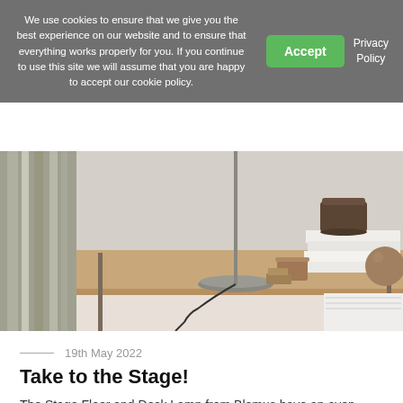We use cookies to ensure that we give you the best experience on our website and to ensure that everything works properly for you. If you continue to use this site we will assume that you are happy to accept our cookie policy.
Accept
Privacy Policy
[Figure (photo): A wooden desk with a slender table lamp base (grey circular base, thin metal pole), a stack of white books topped with a dark glass jar, a brown translucent glass cup, small wooden blocks, and a round wooden sphere. A grey curtain is visible on the left side. The scene is styled in a minimalist Scandinavian aesthetic.]
19th May 2022
Take to the Stage!
The Stage Floor and Desk Lamp from Blomus have an even though delicate appearance, the slimline LED light is